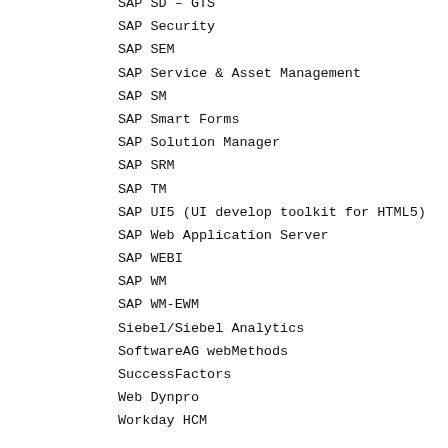SAP SD – GTS
SAP Security
SAP SEM
SAP Service & Asset Management
SAP SM
SAP Smart Forms
SAP Solution Manager
SAP SRM
SAP TM
SAP UI5 (UI develop toolkit for HTML5)
SAP Web Application Server
SAP WEBI
SAP WM
SAP WM-EWM
Siebel/Siebel Analytics
SoftwareAG webMethods
SuccessFactors
Web Dynpro
Workday HCM